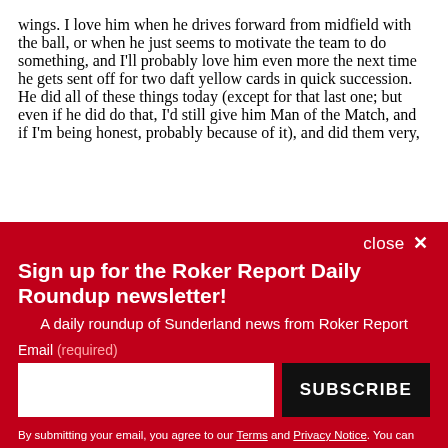wings. I love him when he drives forward from midfield with the ball, or when he just seems to motivate the team to do something, and I'll probably love him even more the next time he gets sent off for two daft yellow cards in quick succession. He did all of these things today (except for that last one; but even if he did do that, I'd still give him Man of the Match, and if I'm being honest, probably because of it), and did them very,
Sign up for the Roker Report Daily Roundup newsletter!
A daily roundup of Sunderland news from Roker Report
Email (required)
SUBSCRIBE
By submitting your email, you agree to our Terms and Privacy Notice. You can opt out at any time. This site is protected by reCAPTCHA and the Google Privacy Policy and Terms of Service apply.